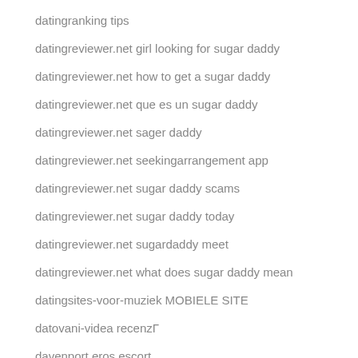datingranking tips
datingreviewer.net girl looking for sugar daddy
datingreviewer.net how to get a sugar daddy
datingreviewer.net que es un sugar daddy
datingreviewer.net sager daddy
datingreviewer.net seekingarrangement app
datingreviewer.net sugar daddy scams
datingreviewer.net sugar daddy today
datingreviewer.net sugardaddy meet
datingreviewer.net what does sugar daddy mean
datingsites-voor-muziek MOBIELE SITE
datovani-videa recenzГ
davenport eros escort
davenport escort near me